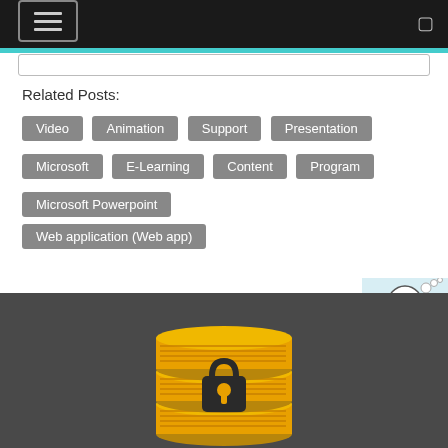Navigation header with menu button
Related Posts:
Video
Animation
Support
Presentation
Microsoft
E-Learning
Content
Program
Microsoft Powerpoint
Web application (Web app)
Attended this course? Write a
[Figure (illustration): Cartoon figure of person thinking at laptop, sidebar widget with arrow]
[Figure (illustration): Golden database/coins stack with lock icon on dark grey background]